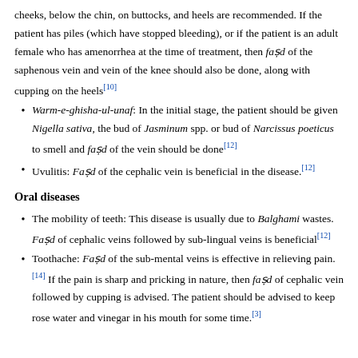cheeks, below the chin, on buttocks, and heels are recommended. If the patient has piles (which have stopped bleeding), or if the patient is an adult female who has amenorrhea at the time of treatment, then faṣd of the saphenous vein and vein of the knee should also be done, along with cupping on the heels[10]
Warm-e-ghisha-ul-unaf: In the initial stage, the patient should be given Nigella sativa, the bud of Jasminum spp. or bud of Narcissus poeticus to smell and faṣd of the vein should be done[12]
Uvulitis: Faṣd of the cephalic vein is beneficial in the disease.[12]
Oral diseases
The mobility of teeth: This disease is usually due to Balghami wastes. Faṣd of cephalic veins followed by sub-lingual veins is beneficial[12]
Toothache: Faṣd of the sub-mental veins is effective in relieving pain.[14] If the pain is sharp and pricking in nature, then faṣd of cephalic vein followed by cupping is advised. The patient should be advised to keep rose water and vinegar in his mouth for some time.[3]